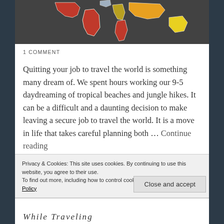[Figure (photo): Colorful world map on dark background, showing continents in red, yellow, and orange tones]
1 COMMENT
Quitting your job to travel the world is something many dream of. We spent hours working our 9-5 daydreaming of tropical beaches and jungle hikes. It can be a difficult and a daunting decision to make leaving a secure job to travel the world. It is a move in life that takes careful planning both … Continue reading
Privacy & Cookies: This site uses cookies. By continuing to use this website, you agree to their use.
To find out more, including how to control cookies, see here: Cookie Policy
Close and accept
While Traveling